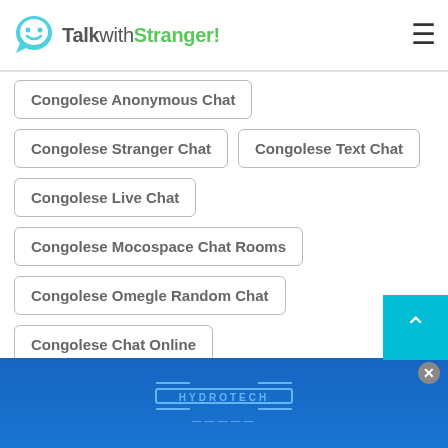TalkwithStranger!
Congolese Anonymous Chat
Congolese Stranger Chat
Congolese Text Chat
Congolese Live Chat
Congolese Mocospace Chat Rooms
Congolese Omegle Random Chat
Congolese Chat Online
Congolese Find Friends
Congolese Free Online Therapy Chatroom
[Figure (screenshot): Advertisement banner for Hydrotech brand with blue background]